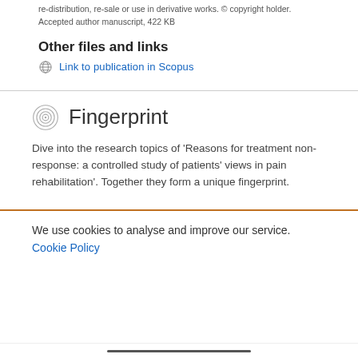re-distribution, re-sale or use in derivative works. © copyright holder. Accepted author manuscript, 422 KB
Other files and links
Link to publication in Scopus
Fingerprint
Dive into the research topics of 'Reasons for treatment non-response: a controlled study of patients' views in pain rehabilitation'. Together they form a unique fingerprint.
We use cookies to analyse and improve our service. Cookie Policy